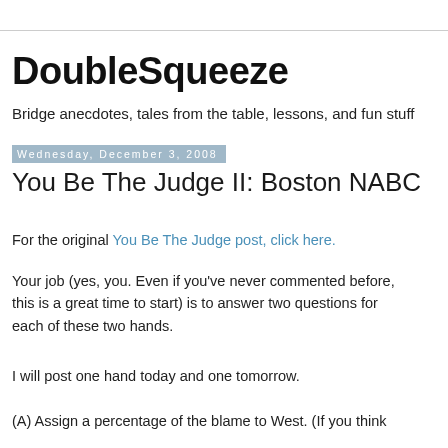DoubleSqueeze
Bridge anecdotes, tales from the table, lessons, and fun stuff
Wednesday, December 3, 2008
You Be The Judge II: Boston NABC
For the original You Be The Judge post, click here.
Your job (yes, you. Even if you've never commented before, this is a great time to start) is to answer two questions for each of these two hands.
I will post one hand today and one tomorrow.
(A) Assign a percentage of the blame to West. (If you think